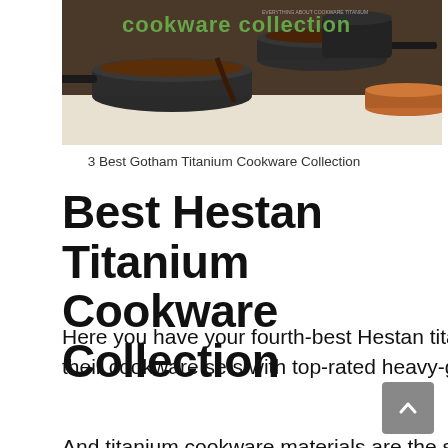[Figure (photo): Photo of a set of dark gray and copper/orange non-stick cookware pans and pots with green text overlay reading 'cookware collection']
3 Best Gotham Titanium Cookware Collection
Best Hestan Titanium Cookware Collection
Here you have your fourth-best Hestan titanium cookware collection brands. Hestan made their cookware sets with top-rated heavy-gauge titanium materials.
And titanium cookware materials are the strongest metal for the kitchen cutlery than other metal, containing also best titanium...